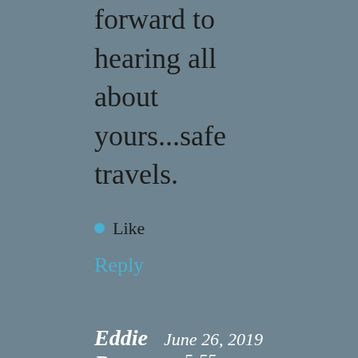forward to hearing all about yours...safe travels.
Like
Reply
Eddie Rous  June 26, 2019 — 5:55 am
Hey, I think your site might be having browser compatibility issues. When I